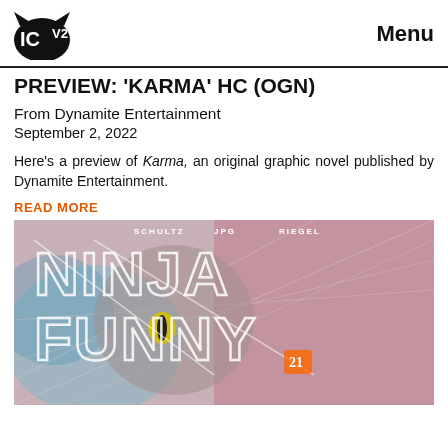ICV2  Menu
PREVIEW: 'KARMA' HC (OGN)
From Dynamite Entertainment
September 2, 2022
Here's a preview of Karma, an original graphic novel published by Dynamite Entertainment.
READ MORE
[Figure (illustration): Comic book cover art for 'Ninja Funny' showing a large cat with glowing yellow eyes overlaid with large white outlined text reading NINJA FUNNY. Authors listed at top: SCHULTZ, JPG, RIEGEL. Dynamic sketch lines in background with pink/red tones.]